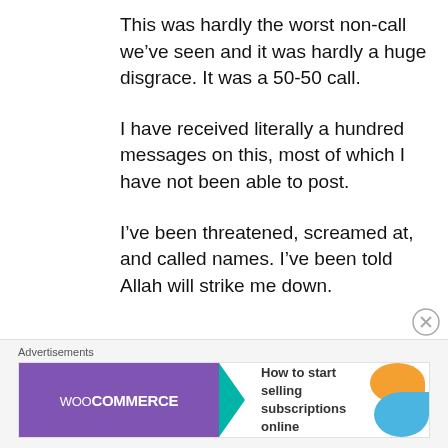This was hardly the worst non-call we’ve seen and it was hardly a huge disgrace. It was a 50-50 call.
I have received literally a hundred messages on this, most of which I have not been able to post.
I’ve been threatened, screamed at, and called names. I’ve been told Allah will strike me down.
Advertisements
[Figure (other): WooCommerce advertisement banner: purple logo on left with teal arrow, text 'How to start selling subscriptions online' on right with orange and blue decorative shapes]